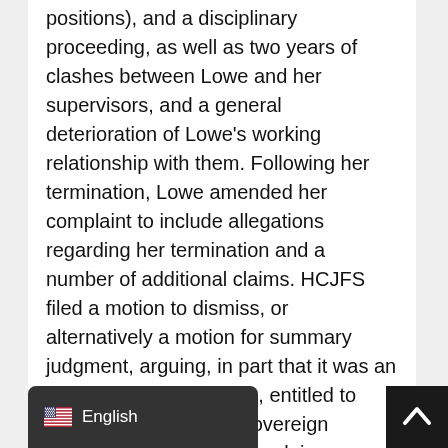positions), and a disciplinary proceeding, as well as two years of clashes between Lowe and her supervisors, and a general deterioration of Lowe's working relationship with them. Following her termination, Lowe amended her complaint to include allegations regarding her termination and a number of additional claims. HCJFS filed a motion to dismiss, or alternatively a motion for summary judgment, arguing, in part that it was an arm of the State of Ohio, entitled to Eleventh Amendment sovereign immunity on all of Lowe's claims.
The District Court did grant HCJFS summary judgment on a number of Lowe's complaints, but ultimately concluded that HCJFS was not entitled to sovereign immunity.  Additionally, they denied summary judgment on Lowe's disability and retaliation claims. HCJFS District Court's denial of summary